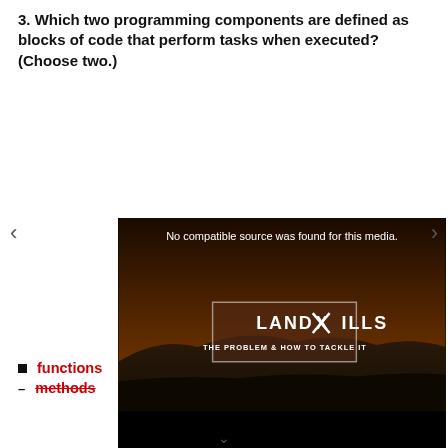3. Which two programming components are defined as blocks of code that perform tasks when executed? (Choose two.)
[Figure (screenshot): Video player showing 'No compatible source was found for this media.' with a thumbnail image of a landfill landscape with text 'LANDXILLS THE PROBLEM & HOW TO TACKLE IT'. Navigation arrows on left and right sides.]
functions
methods